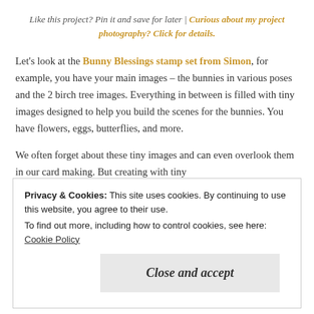Like this project? Pin it and save for later | Curious about my project photography? Click for details.
Let's look at the Bunny Blessings stamp set from Simon, for example, you have your main images – the bunnies in various poses and the 2 birch tree images. Everything in between is filled with tiny images designed to help you build the scenes for the bunnies. You have flowers, eggs, butterflies, and more.
We often forget about these tiny images and can even overlook them in our card making. But creating with tiny
Privacy & Cookies: This site uses cookies. By continuing to use this website, you agree to their use.
To find out more, including how to control cookies, see here: Cookie Policy
Close and accept